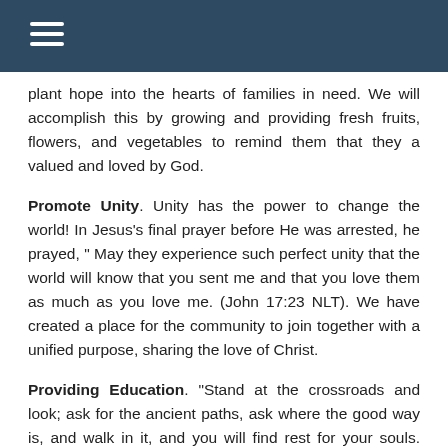plant hope into the hearts of families in need. We will accomplish this by growing and providing fresh fruits, flowers, and vegetables to remind them that they a valued and loved by God.
Promote Unity. Unity has the power to change the world! In Jesus's final prayer before He was arrested, he prayed, “ May they experience such perfect unity that the world will know that you sent me and that you love them as much as you love me. (John 17:23 NLT). We have created a place for the community to join together with a unified purpose, sharing the love of Christ.
Providing Education. “Stand at the crossroads and look; ask for the ancient paths, ask where the good way is, and walk in it, and you will find rest for your souls. (Jeremiah 6:16 NIV) We